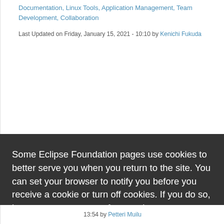Documentation, Linux Tools, Application Management, Team Development, Collaboration
Last Updated on Friday, January 15, 2021 - 10:10 by Kenichi Fukuda
Some Eclipse Foundation pages use cookies to better serve you when you return to the site. You can set your browser to notify you before you receive a cookie or turn off cookies. If you do so, however, some areas of some sites may not function properly. To read Eclipse Foundation Privacy Policy click here.
Decline
Allow cookies
13:54 by Petteri Muilu